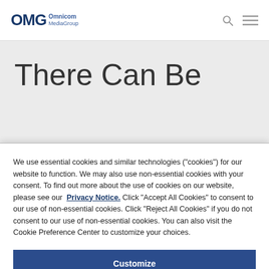OMG Omnicom MediaGroup
There Can Be
We use essential cookies and similar technologies ("cookies") for our website to function. We may also use non-essential cookies with your consent. To find out more about the use of cookies on our website, please see our Privacy Notice. Click "Accept All Cookies" to consent to our use of non-essential cookies. Click "Reject All Cookies" if you do not consent to our use of non-essential cookies. You can also visit the Cookie Preference Center to customize your choices.
Customize
Reject All Cookies